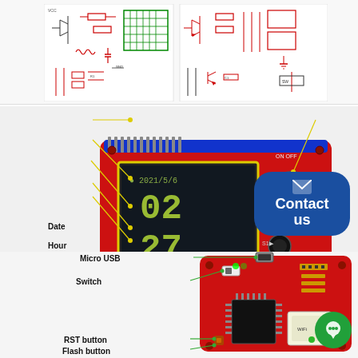[Figure (schematic): Electronic circuit schematic diagrams showing multiple circuit sections with transistors, resistors, capacitors and connectors on white/light background]
[Figure (photo): Red Arduino/STM32 based alarm clock PCB with 1.44 inch 128x128 TFT LCD display showing date 2021/5/6, hour 02, minute 27, alarm 00:00. Labeled components: Date, Hour, Minute, Alarm, Display, Buzzer. Blue contact us overlay bubble visible.]
[Figure (photo): Red microcontroller main board with Micro USB port, power switch, RST button, Flash button, WiFi module, and various components labeled with arrows.]